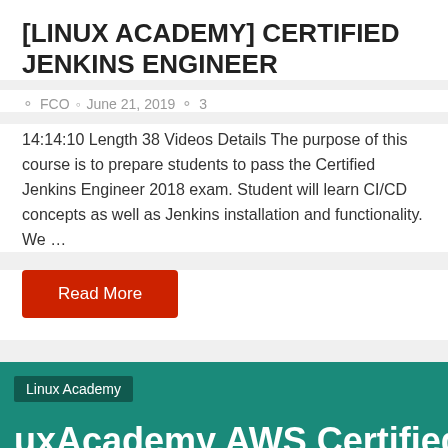[LINUX ACADEMY] CERTIFIED JENKINS ENGINEER
FCO  June 21, 2019  3
14:14:10 Length  38 Videos Details The purpose of this course is to prepare students to pass the Certified Jenkins Engineer 2018 exam. Student will learn CI/CD concepts as well as Jenkins installation and functionality. We …
Read More
[Figure (screenshot): Teal/green banner card showing 'Linux Academy' badge label and partial title text 'uxAcademy AWS Certified Ops Engineer - Professiona' in large white bold font on teal background]